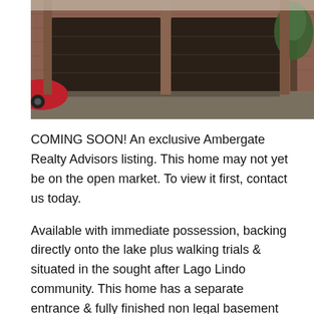[Figure (photo): Photo of a brick house exterior showing a two-car dark garage door with a red car partially visible on the left and a tree on the right, taken from a driveway.]
COMING SOON! An exclusive Ambergate Realty Advisors listing. This home may not yet be on the open market. To view it first, contact us today.
Available with immediate possession, backing directly onto the lake plus walking trials & situated in the sought after Lago Lindo community. This home has a separate entrance & fully finished non legal basement suite with kitchen, bathroom, living room & plenty of storage. It's perfect for in laws or